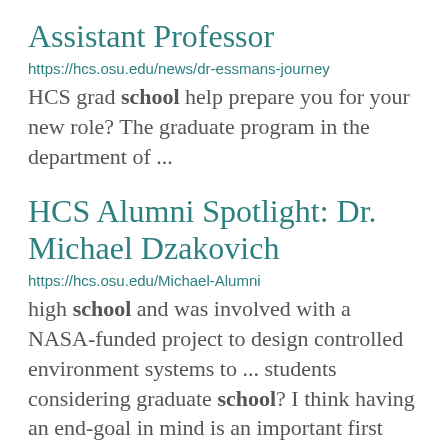Assistant Professor
https://hcs.osu.edu/news/dr-essmans-journey
HCS grad school help prepare you for your new role? The graduate program in the department of ...
HCS Alumni Spotlight: Dr. Michael Dzakovich
https://hcs.osu.edu/Michael-Alumni
high school and was involved with a NASA-funded project to design controlled environment systems to ... students considering graduate school? I think having an end-goal in mind is an important first